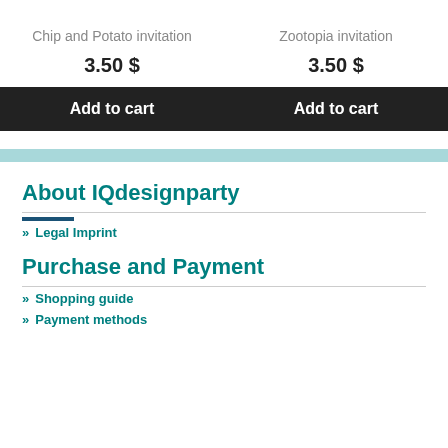Chip and Potato invitation
Zootopia invitation
3.50 $
3.50 $
Add to cart
Add to cart
About IQdesignparty
» Legal Imprint
Purchase and Payment
» Shopping guide
» Payment methods